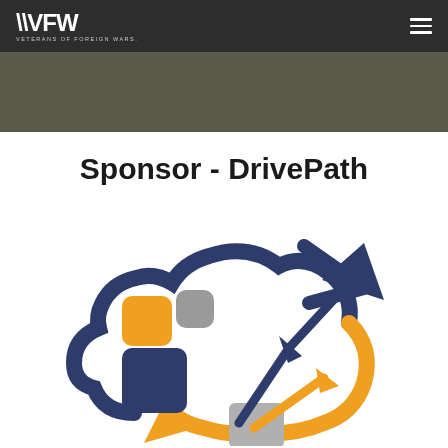VFW VETERANS OF FOREIGN WARS
[Figure (photo): Dark olive/grey hero banner image]
Sponsor - DrivePath
[Figure (logo): DrivePath logo featuring a cloud/refresh cycle icon with two squares (orange and grey/blue) and two diagonal upward arrows (dark navy and orange), forming a circular arrow path around the squares]